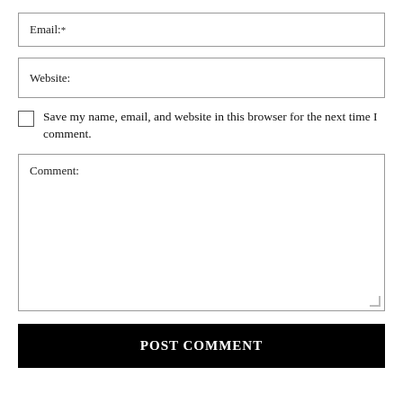Email:*
Website:
Save my name, email, and website in this browser for the next time I comment.
Comment:
POST COMMENT